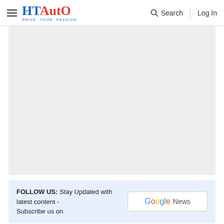HT Auto - Drive Your Passion | Search | Log In
[Figure (other): Large gray placeholder content area, likely an advertisement or image]
FOLLOW US:   Stay Updated with latest content - Subscribe us on   Google News